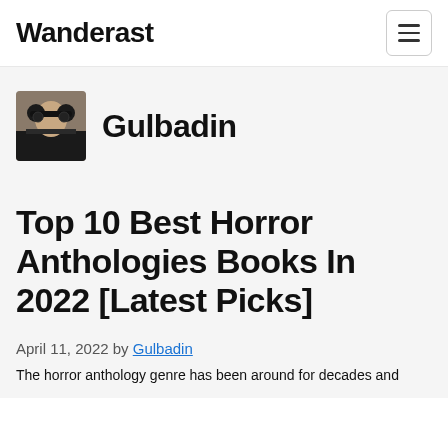Wanderast
Gulbadin
Top 10 Best Horror Anthologies Books In 2022 [Latest Picks]
April 11, 2022 by Gulbadin
The horror anthology genre has been around for decades and